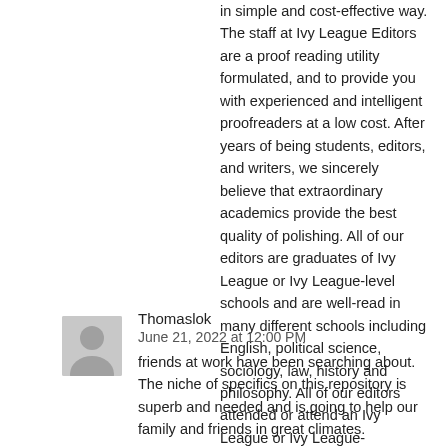in simple and cost-effective way. The staff at Ivy League Editors are a proof reading utility formulated, and to provide you with experienced and intelligent proofreaders at a low cost. After years of being students, editors, and writers, we sincerely believe that extraordinary academics provide the best quality of polishing. All of our editors are graduates of Ivy League or Ivy League-level schools and are well-read in many different schools including English, political science, sociology, law, history and philosophy. All of our editors attended or attend an Ivy League or Ivy League-equivalent university and have vast experience polishing papers in various disciplines and genres. Check out my business site [url=https://www.teacheasyenglish.org/what-is-next-for-teaching-easy-english/]How to learn American accent for Indian speaker[/url]
Thomaslok
June 21, 2022 at 12:00 PM
friends at work have been searching about. The niche of specifics on this repository is superb and needed and is going to help our family and friends in great climates.